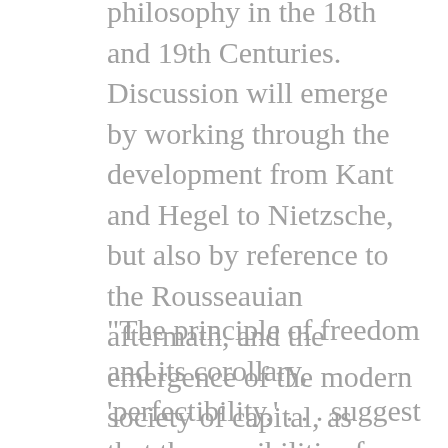philosophy in the 18th and 19th Centuries. Discussion will emerge by working through the development from Kant and Hegel to Nietzsche, but also by reference to the Rousseauian aftermath, and the emergence of the modern society of capital, as registered by liberals such as Adam Smith and Benjamin Constant.
"The principle of freedom and its corollary, 'perfectibility,' . . . suggest that the possibilities for being human are both multiple and, literally, endless. . . .